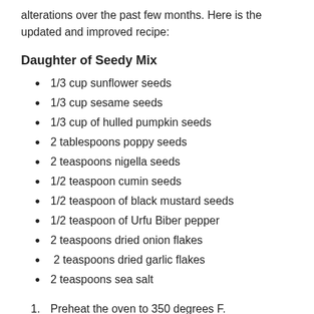alterations over the past few months. Here is the updated and improved recipe:
Daughter of Seedy Mix
1/3 cup sunflower seeds
1/3 cup sesame seeds
1/3 cup of hulled pumpkin seeds
2 tablespoons poppy seeds
2 teaspoons nigella seeds
1/2 teaspoon cumin seeds
1/2 teaspoon of black mustard seeds
1/2 teaspoon of Urfu Biber pepper
2 teaspoons dried onion flakes
2 teaspoons dried garlic flakes
2 teaspoons sea salt
Preheat the oven to 350 degrees F.
Put the sunflower and sesame seeds in a shallow oven